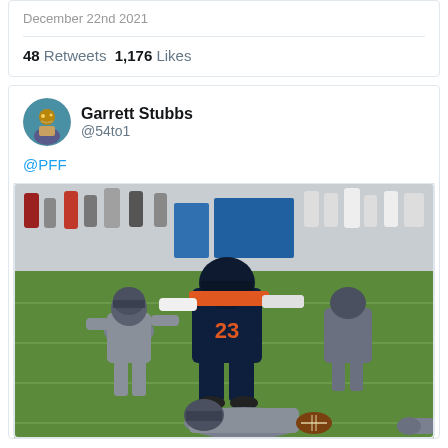December 22nd 2021
48 Retweets  1,176 Likes
Garrett Stubbs @54to1
@PFF
[Figure (photo): NFL football game action photo showing players including one wearing jersey number 23 in dark (Bears) uniform, engaging with opposing players in green (Eagles) uniforms on the field, with a loose football visible]